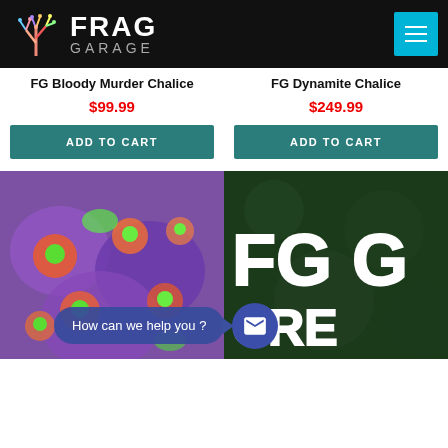[Figure (logo): Frag Garage logo with colorful coral illustration and white text on black background, with cyan hamburger menu button]
FG Bloody Murder Chalice
FG Dynamite Chalice
$99.99
$249.99
ADD TO CART
ADD TO CART
[Figure (photo): Close-up photo of colorful coral frag with purple, orange, and green colors]
[Figure (photo): Dark green background with large white FG G text and partial CRE text, Frag Garage branding]
How can we help you ?